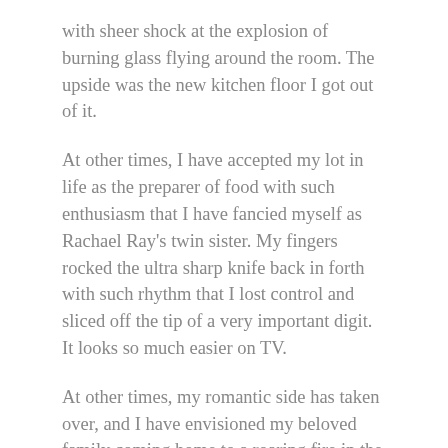with sheer shock at the explosion of burning glass flying around the room. The upside was the new kitchen floor I got out of it.
At other times, I have accepted my lot in life as the preparer of food with such enthusiasm that I have fancied myself as Rachael Ray's twin sister. My fingers rocked the ultra sharp knife back in forth with such rhythm that I lost control and sliced off the tip of a very important digit. It looks so much easier on TV.
At other times, my romantic side has taken over, and I have envisioned my beloved family coming home to a roaring fire in the fireplace of our 1930's bungalow. But a thick menacing smoke filled the house thwarting my plans. Stupid fireplace! I called a friend. (A call to the fire department seemed a bit dramatic). She walked into the house, walked over to the fireplace and mentioned that